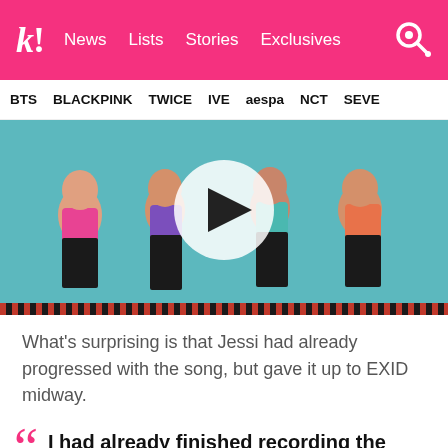k! News Lists Stories Exclusives
BTS BLACKPINK TWICE IVE aespa NCT SEVE
[Figure (photo): Four female K-pop group members posing in colorful crop tops and black pants with a play button overlay, teal background with red/black striped bottom border]
What's surprising is that Jessi had already progressed with the song, but gave it up to EXID midway.
I had already finished recording the